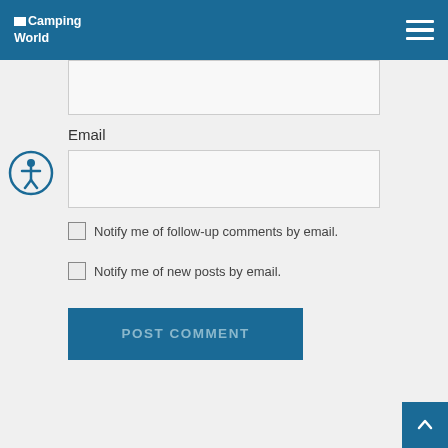Camping World
[Figure (screenshot): Web form text input area (partially visible at top)]
Email
[Figure (screenshot): Email text input field]
[Figure (illustration): Accessibility icon - circular blue icon with human figure]
Notify me of follow-up comments by email.
Notify me of new posts by email.
POST COMMENT
[Figure (illustration): Back to top arrow button]